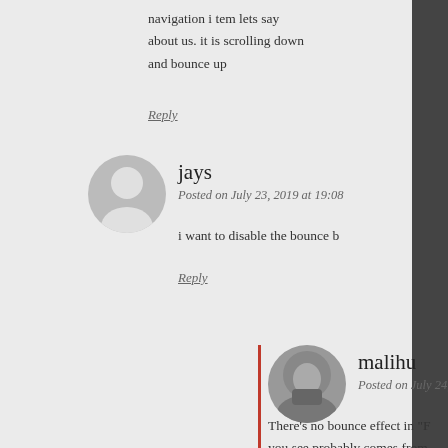navigation i tem lets say about us. it is scrolling down and bounce up
Reply
jays
Posted on July 23, 2019 at 19:08
i want to disable the bounce b
Reply
malihu
Posted on July 24, 2019 at 13:33
There's no bounce effect in "P you see probably comes from builder.